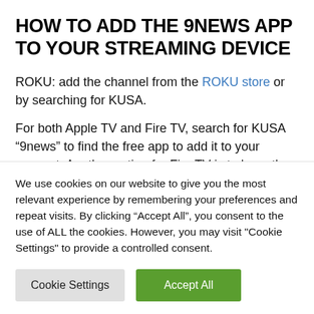HOW TO ADD THE 9NEWS APP TO YOUR STREAMING DEVICE
ROKU: add the channel from the ROKU store or by searching for KUSA.
For both Apple TV and Fire TV, search for KUSA “9news” to find the free app to add it to your account. Another option for Fire TV is to have the app delivered directly to Fire TV through A...
We use cookies on our website to give you the most relevant experience by remembering your preferences and repeat visits. By clicking “Accept All”, you consent to the use of ALL the cookies. However, you may visit "Cookie Settings" to provide a controlled consent.